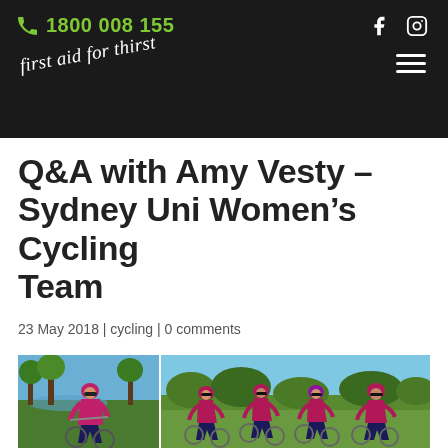1800 008 155 | first aid for thirst
Q&A with Amy Vesty – Sydney Uni Women's Cycling Team
23 May 2018 | cycling | 0 comments
[Figure (photo): Two photos side by side: left shows a female cyclist in pink/magenta kit and helmet riding near water and trees; right shows a group of female cyclists in pink/magenta kits and helmets racing together.]